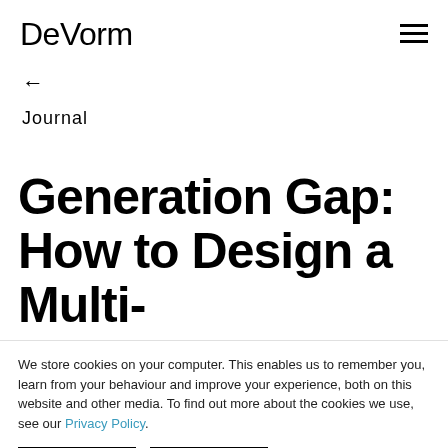DeVorm
←
Journal
Generation Gap: How to Design a Multi-Generational
We store cookies on your computer. This enables us to remember you, learn from your behaviour and improve your experience, both on this website and other media. To find out more about the cookies we use, see our Privacy Policy.
Accept
Decline